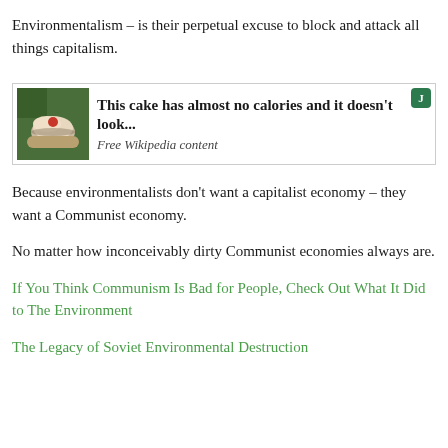Environmentalism – is their perpetual excuse to block and attack all things capitalism.
[Figure (screenshot): Advertisement showing a cake on a blue plate with text: 'This cake has almost no calories and it doesn't look...' and subtitle 'Free Wikipedia content']
Because environmentalists don't want a capitalist economy – they want a Communist economy.
No matter how inconceivably dirty Communist economies always are.
If You Think Communism Is Bad for People, Check Out What It Did to The Environment
The Legacy of Soviet Environmental Destruction